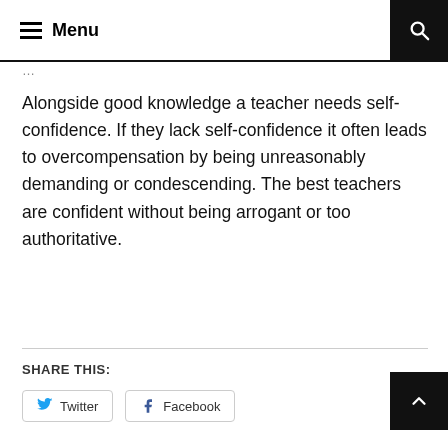Menu
Alongside good knowledge a teacher needs self-confidence. If they lack self-confidence it often leads to overcompensation by being unreasonably demanding or condescending. The best teachers are confident without being arrogant or too authoritative.
SHARE THIS:
Twitter  Facebook